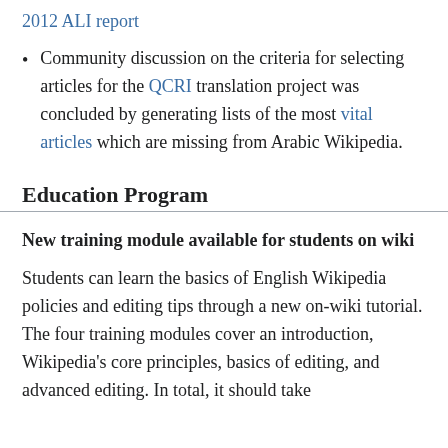2012 ALI report
Community discussion on the criteria for selecting articles for the QCRI translation project was concluded by generating lists of the most vital articles which are missing from Arabic Wikipedia.
Education Program
New training module available for students on wiki
Students can learn the basics of English Wikipedia policies and editing tips through a new on-wiki tutorial. The four training modules cover an introduction, Wikipedia's core principles, basics of editing, and advanced editing. In total, it should take